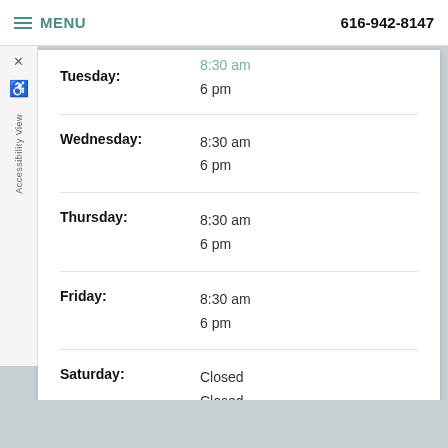MENU  616-942-8147
| Day | Hours |
| --- | --- |
| Monday: | 6 pm |
| Tuesday: | 8:30 am
6 pm |
| Wednesday: | 8:30 am
6 pm |
| Thursday: | 8:30 am
6 pm |
| Friday: | 8:30 am
6 pm |
| Saturday: | Closed
Closed |
| Sunday: | Closed
Closed |